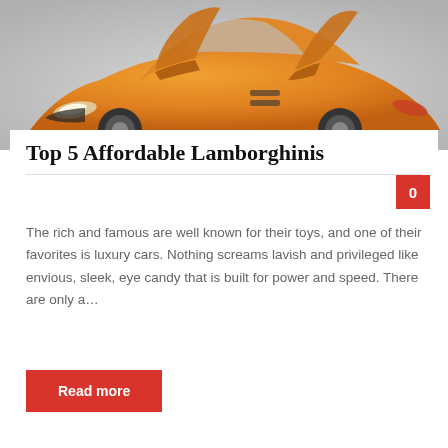[Figure (photo): Orange Lamborghini sports car with scissor doors open, photographed against a light gray background]
Top 5 Affordable Lamborghinis
The rich and famous are well known for their toys, and one of their favorites is luxury cars. Nothing screams lavish and privileged like envious, sleek, eye candy that is built for power and speed. There are only a...
Read more